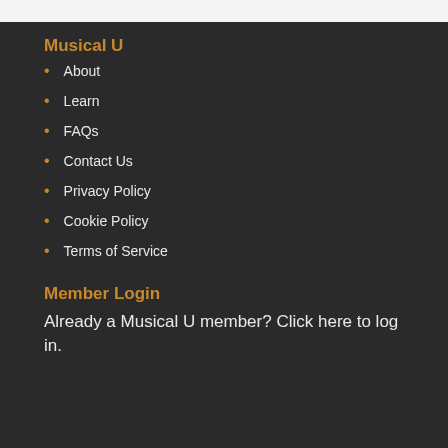Musical U
About
Learn
FAQs
Contact Us
Privacy Policy
Cookie Policy
Terms of Service
Member Login
Already a Musical U member? Click here to log in.